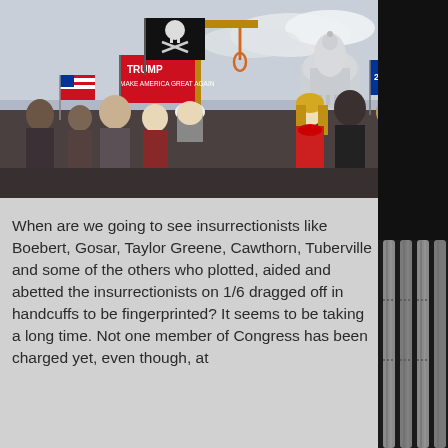[Figure (photo): Crowd scene at the U.S. Capitol on January 6, 2021. Visible are a wooden gallows/noose structure, Trump flags, a skull-and-crossbones pirate flag, American flags, and a crowd of protesters. The U.S. Capitol dome is visible in the background.]
When are we going to see insurrectionists like Boebert, Gosar, Taylor Greene, Cawthorn, Tuberville and some of the others who plotted, aided and abetted the insurrectionists on 1/6 dragged off in handcuffs to be fingerprinted? It seems to be taking a long time. Not one member of Congress has been charged yet, even though, at the very least Boebert...
[Figure (photo): U.S. Capitol building columns, partial view on right side of page, black and white or desaturated.]